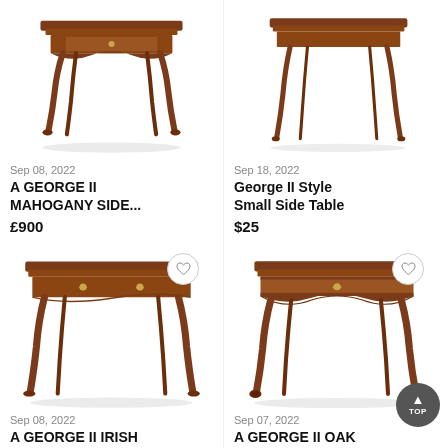[Figure (photo): Antique George II mahogany side table with cabriole legs, viewed from slightly above]
Sep 08, 2022
A GEORGE II MAHOGANY SIDE...
£900
[Figure (photo): Antique George II style small side table with slender cabriole legs on white background]
Sep 18, 2022
George II Style Small Side Table
$25
[Figure (photo): Antique George II Irish side table with cabriole legs and single drawer, heart/favourite button visible]
Sep 08, 2022
A GEORGE II IRISH
[Figure (photo): Antique George II oak side table with carved apron and cabriole legs ending in pad feet, heart/favourite button visible]
Sep 07, 2022
A GEORGE II OAK